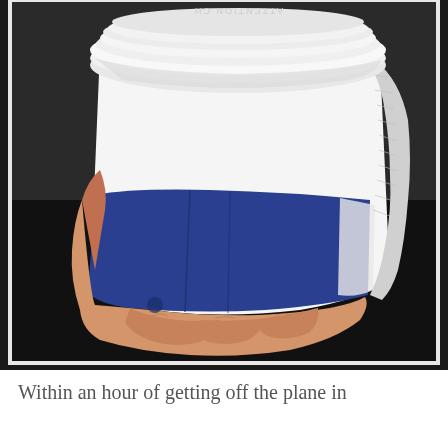[Figure (photo): A hand holding a white disposable hot beverage cup with a blue cardboard sleeve/insulator and a white plastic lid. The lid has text that reads 'ATTENTION CH' (partially visible, mirrored/upside down). The cup appears to be from a coffee shop, held against a dark background.]
Within an hour of getting off the plane in